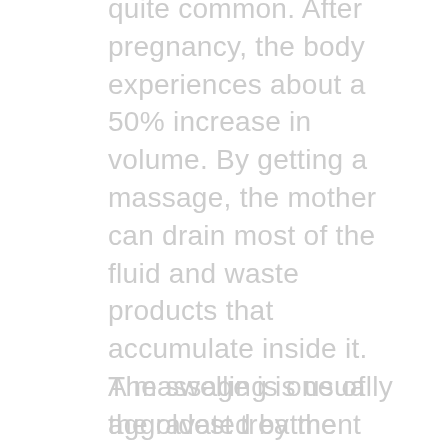quite common. After pregnancy, the body experiences about a 50% increase in volume. By getting a massage, the mother can drain most of the fluid and waste products that accumulate inside it. The swelling is usually aggravated by the hormonal changes within the body. By getting a massage, it helps to regulate hormones in the body, which eases the swelling.
A massage is one of the oldest treatment procedures in the world. It